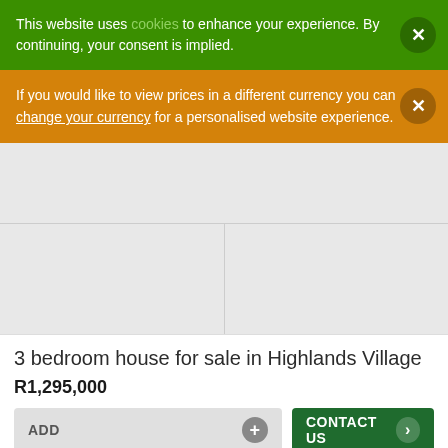This website uses cookies to enhance your experience. By continuing, your consent is implied.
If you would like to view prices in a different currency you can change your currency for a personalised website experience.
[Figure (photo): Property listing image placeholder - top full-width photo and two smaller thumbnail images below]
3 bedroom house for sale in Highlands Village
R1,295,000
ADD
CONTACT US